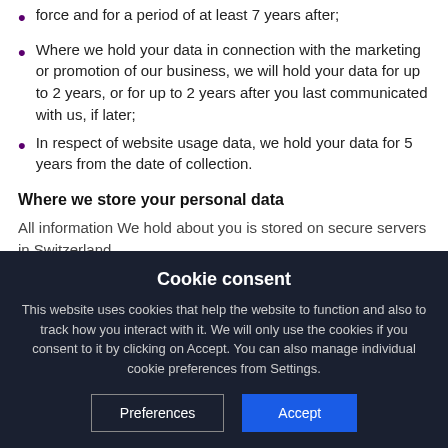force and for a period of at least 7 years after;
Where we hold your data in connection with the marketing or promotion of our business, we will hold your data for up to 2 years, or for up to 2 years after you last communicated with us, if later;
In respect of website usage data, we hold your data for 5 years from the date of collection.
Where we store your personal data
All information We hold about you is stored on secure servers in Switzerland.
The European Commission has given a
Cookie consent
This website uses cookies that help the website to function and also to track how you interact with it. We will only use the cookies if you consent to it by clicking on Accept. You can also manage individual cookie preferences from Settings.
Preferences
Accept